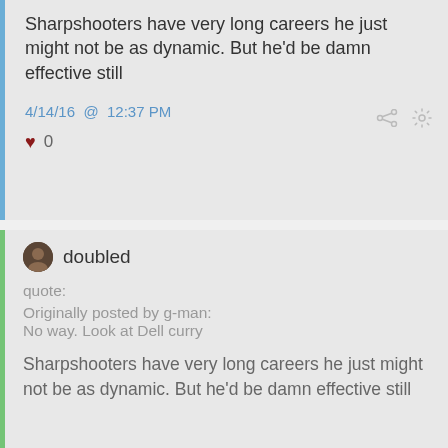Sharpshooters have very long careers he just might not be as dynamic. But he'd be damn effective still
4/14/16 @ 12:37 PM
♥ 0
doubled
quote:
Originally posted by g-man:
No way. Look at Dell curry
Sharpshooters have very long careers he just might not be as dynamic. But he'd be damn effective still